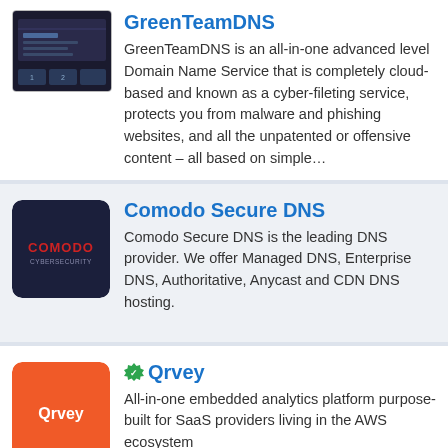[Figure (screenshot): GreenTeamDNS website screenshot thumbnail showing dark background with network/server imagery]
GreenTeamDNS
GreenTeamDNS is an all-in-one advanced level Domain Name Service that is completely cloud-based and known as a cyber-fileting service, protects you from malware and phishing websites, and all the unpatented or offensive content – all based on simple…
[Figure (logo): Comodo Cybersecurity logo — dark navy rounded square with red COMODO text]
Comodo Secure DNS
Comodo Secure DNS is the leading DNS provider. We offer Managed DNS, Enterprise DNS, Authoritative, Anycast and CDN DNS hosting.
[Figure (logo): Qrvey logo — orange rounded square with white Qrvey text]
Qrvey
All-in-one embedded analytics platform purpose-built for SaaS providers living in the AWS ecosystem